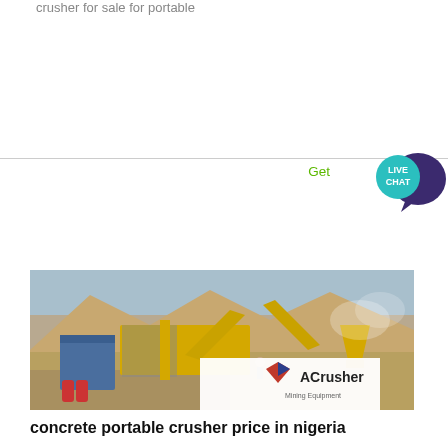crusher for sale for portable
[Figure (other): Live Chat button with teal circle and dark purple speech bubble]
Get
[Figure (photo): Photo of a portable crushing and screening plant (ACrusher Mining Equipment) operating in a rocky desert/quarry environment. Yellow conveyor belts, equipment structure, workers, dust clouds, and rocky mountains in background. ACrusher Mining Equipment logo overlay in bottom right.]
concrete portable crusher price in nigeria